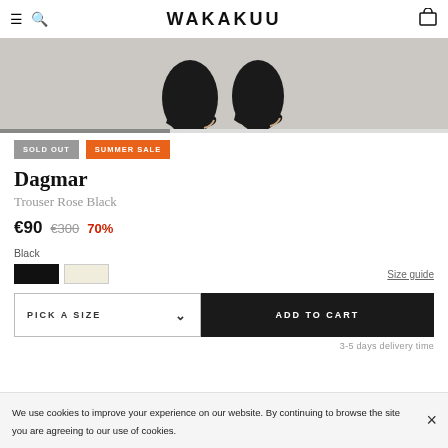WAKAKUU
[Figure (photo): Product photo showing black pointed-toe heels/boots from above on a grey background, with a horizontal slider/progress bar below the image]
SOLD OUT  SUMMER SALE
Dagmar
Trouser Rose Black
€90  €300  70%
Black
Size guide
PICK A SIZE  ADD TO CART
3-5 days delivery time
We use cookies to improve your experience on our website. By continuing to browse the site you are agreeing to our use of cookies.